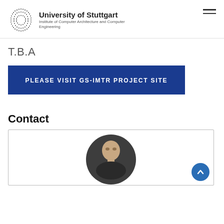University of Stuttgart — Institute of Computer Architecture and Computer Engineering
T.B.A
PLEASE VISIT GS-IMTR PROJECT SITE
Contact
[Figure (photo): Contact card showing a man's headshot in a circular crop on a dark background, with a blue scroll-to-top button in the lower right corner]